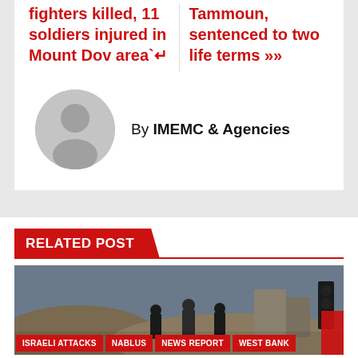fighters killed, 11 soldiers injured in Mount Dov area`↵
Tammoun, sentenced to two life terms »»
By IMEMC & Agencies
[Figure (illustration): Generic grey avatar/profile placeholder circle icon]
RELATED POST
[Figure (photo): News photo showing people in an outdoor scene, possibly a checkpoint or military/conflict situation]
ISRAELI ATTACKS   NABLUS   NEWS REPORT   WEST BANK